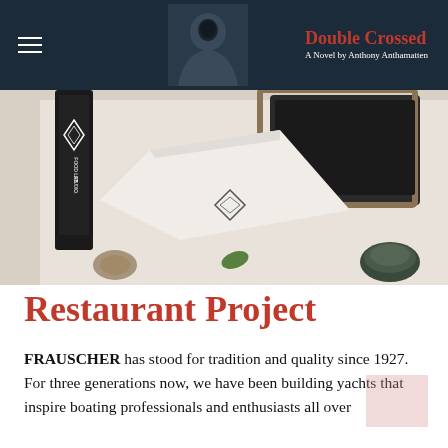Double Crossed — A Novel by Anthony Anthamatten
[Figure (photo): Food Lab Studio branding photo with white linen, black chalkboard, black bottle with Food Lab Studio label, twine, and small plant leaf on white surface]
Restaurant Project
FRAUSCHER has stood for tradition and quality since 1927. For three generations now, we have been building yachts that inspire boating professionals and enthusiasts all over